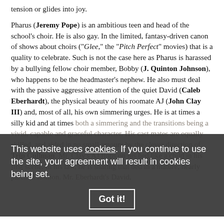tension or glides into joy.

Pharus (Jeremy Pope) is an ambitious teen and head of the school's choir. He is also gay. In the limited, fantasy-driven canon of shows about choirs ("Glee," the "Pitch Perfect" movies) that is a quality to celebrate. Such is not the case here as Pharus is harassed by a bullying fellow choir member, Bobby (J. Quinton Johnson), who happens to be the headmaster's nephew. He also must deal with the passive aggressive attention of the quiet David (Caleb Eberhardt), the physical beauty of his roomate AJ (John Clay III) and, most of all, his own simmering urges. He is at times a silly kid and at times both a simmering and the transitions being a vivid, capable and graceful character. His cast mates are equally skilled, and aided in no small amount by the clever direction of Trip Cullman. Mr. Clay's AJ flops on his bed like a child in his first scene. In his last, he is sharing that bed in a mature, nearly parental fashion. Mr. Eberhardt's David,
This website uses cookies. If you continue to use the site, your agreement will result in cookies being set.